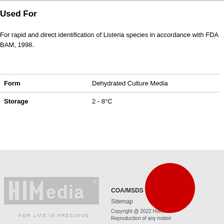Used For
For rapid and direct identification of Listeria species in accordance with FDA BAM, 1998.
| Form | Dehydrated Culture Media |
| --- | --- |
| Storage | 2 - 8°C |
[Figure (logo): HiMedia logo with tagline FOR LIFE IS PRECIOUS]
COA/MSDS  About  Sitemap  Policy  Copyright @ HiMedia  Reproduction of any material